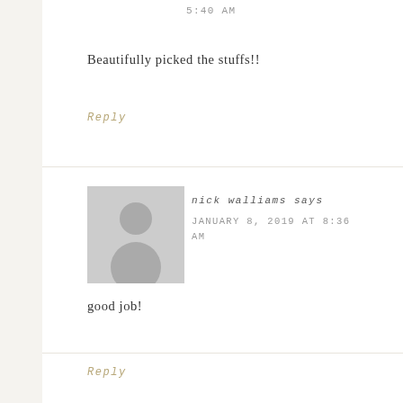5:40 AM
Beautifully picked the stuffs!!
Reply
[Figure (illustration): Generic user avatar placeholder - grey silhouette of a person]
nick walliams says
JANUARY 8, 2019 AT 8:36 AM
good job!
Reply